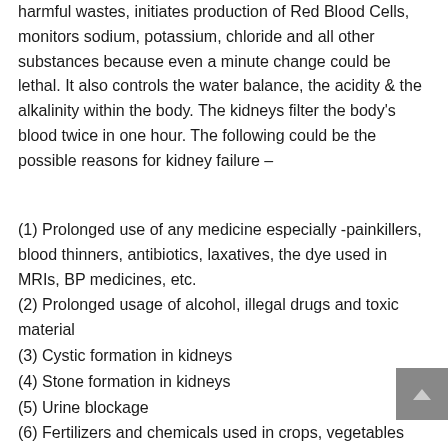harmful wastes, initiates production of Red Blood Cells, monitors sodium, potassium, chloride and all other substances because even a minute change could be lethal. It also controls the water balance, the acidity & the alkalinity within the body. The kidneys filter the body's blood twice in one hour. The following could be the possible reasons for kidney failure –
(1) Prolonged use of any medicine especially -painkillers, blood thinners, antibiotics, laxatives, the dye used in MRIs, BP medicines, etc.
(2) Prolonged usage of alcohol, illegal drugs and toxic material
(3) Cystic formation in kidneys
(4) Stone formation in kidneys
(5) Urine blockage
(6) Fertilizers and chemicals used in crops, vegetables and fruits.
(7) Contaminated water
(8) Diabetes